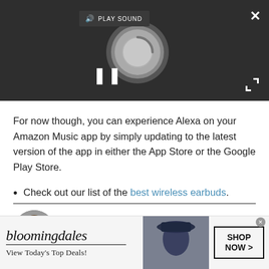[Figure (screenshot): Video/audio player interface with dark background showing a circular loading indicator, pause button (two vertical bars), a 'PLAY SOUND' button with speaker icon, a close X button top right, and expand arrows bottom right.]
For now though, you can experience Alexa on your Amazon Music app by simply updating to the latest version of the app in either the App Store or the Google Play Store.
Check out our list of the best wireless earbuds.
[Figure (illustration): Circular author avatar photo showing a man's face.]
Andrew London
[Figure (screenshot): Bloomingdale's advertisement banner: logo with 'bloomingdales' in italic serif font, underline, tagline 'View Today's Top Deals!', woman in hat image, SHOP NOW button.]